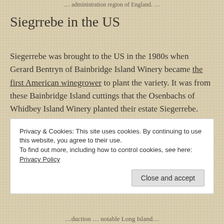... region of England.
Siegrrebe in the US
Siegerrebe was brought to the US in the 1980s when Gerard Bentryn of Bainbridge Island Winery became the first American winegrower to plant the variety. It was from these Bainbridge Island cuttings that the Osenbachs of Whidbey Island Winery planted their estate Siegerrebe.
Privacy & Cookies: This site uses cookies. By continuing to use this website, you agree to their use.
To find out more, including how to control cookies, see here: Privacy Policy
Close and accept
...duction ... notable Long Island...